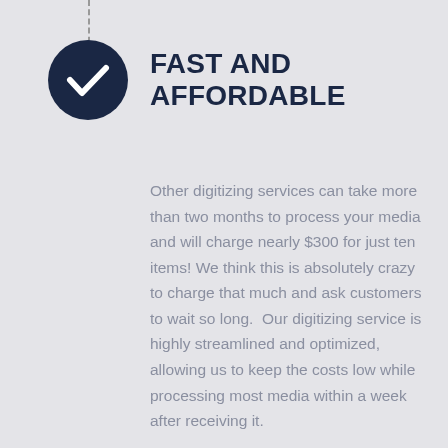[Figure (illustration): Dark navy circle with a white checkmark inside, connected to a dashed vertical line above it]
FAST AND AFFORDABLE
Other digitizing services can take more than two months to process your media and will charge nearly $300 for just ten items! We think this is absolutely crazy to charge that much and ask customers to wait so long. Our digitizing service is highly streamlined and optimized, allowing us to keep the costs low while processing most media within a week after receiving it.